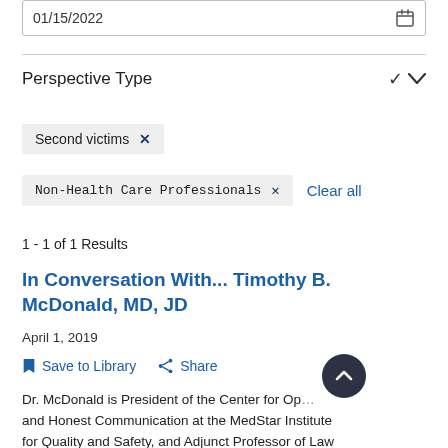01/15/2022
Perspective Type
Second victims ×
Non-Health Care Professionals ×   Clear all
1 - 1 of 1 Results
In Conversation With... Timothy B. McDonald, MD, JD
April 1, 2019
Save to Library   Share
Dr. McDonald is President of the Center for Op... and Honest Communication at the MedStar Institute for Quality and Safety, and Adjunct Professor of Law